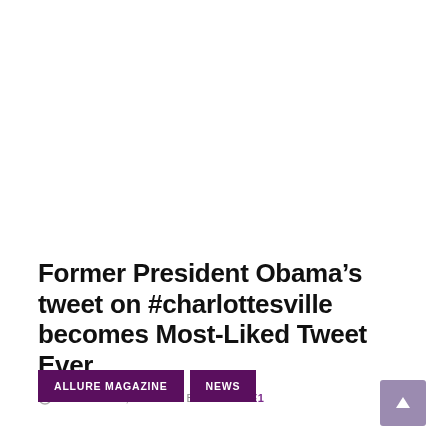Former President Obama's tweet on #charlottesville becomes Most-Liked Tweet Ever
AUGUST 17, 2017 / BY ALLURE1
ALLURE MAGAZINE
NEWS